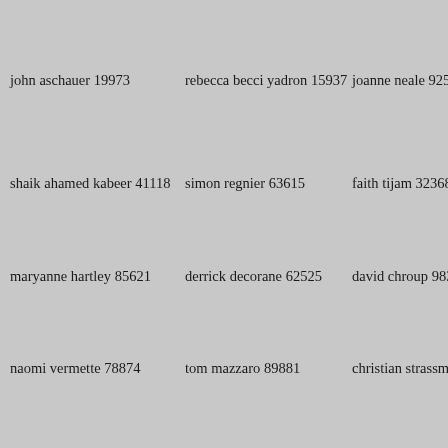john aschauer 19973
rebecca becci yadron 15937
joanne neale 92568
shaik ahamed kabeer 41118
simon regnier 63615
faith tijam 32368
maryanne hartley 85621
derrick decorane 62525
david chroup 98318
naomi vermette 78874
tom mazzaro 89881
christian strassmair 289